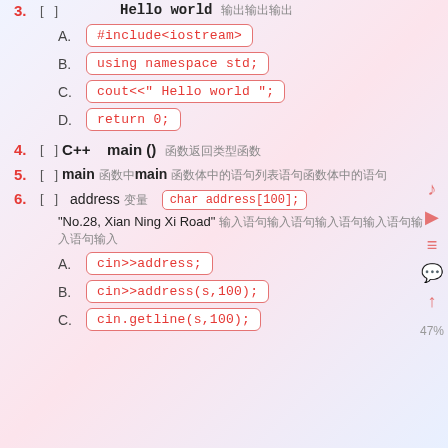3. [ ] Hello world 输出
A. #include<iostream>
B. using namespace std;
C. cout<<" Hello world ";
D. return 0;
4. [ ] C++ main () 函数的返回类型
5. [ ] main 函数中main 函数体中的语句
6. [ ] address 变量 char address[100]; "No.28, Xian Ning Xi Road" 输入语句
A. cin>>address;
B. cin>>address(s,100);
C. cin.getline(s,100);